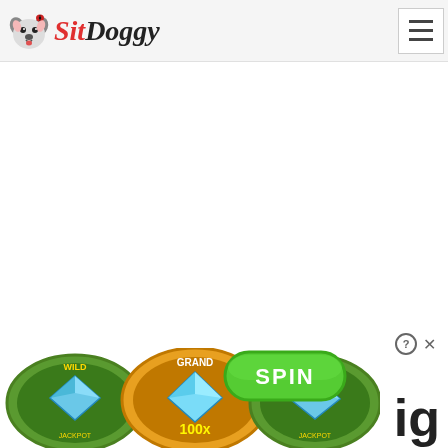[Figure (logo): SitDoggy logo with cartoon dog face icon and stylized italic brand name in red and dark gray]
[Figure (screenshot): Hamburger menu button (three horizontal lines) in top-right corner]
[Figure (illustration): Online casino slot machine advertisement showing three diamond gem medallion reels (with 'WILD', 'GRAND 100x', 'WILD' labels) and a green SPIN button, with question mark and X close controls, and partial text 'ig' visible at right edge]